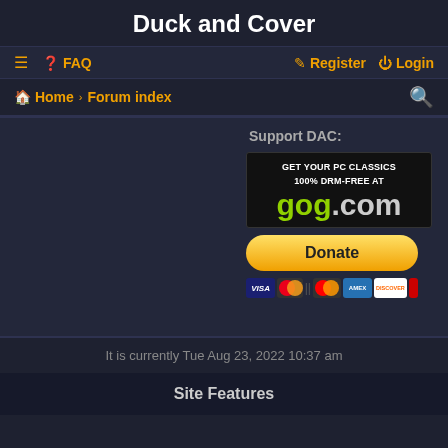Duck and Cover
≡  FAQ    Register  Login
Home › Forum index
[Figure (infographic): GOG.com advertisement banner with text GET YOUR PC CLASSICS 100% DRM-FREE AT gog.com, a Donate button, and payment card icons (VISA, Mastercard, American Express, Discover).]
Support DAC:
It is currently Tue Aug 23, 2022 10:37 am
Site Features